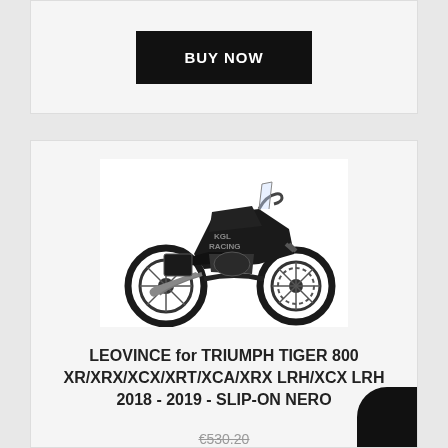BUY NOW
[Figure (photo): Black Triumph Tiger 800 motorcycle, side view, with KGL Racing watermark]
LEOVINCE for TRIUMPH TIGER 800 XR/XRX/XCX/XRT/XCA/XRX LRH/XCX LRH 2018 - 2019 - SLIP-ON NERO
€530.20